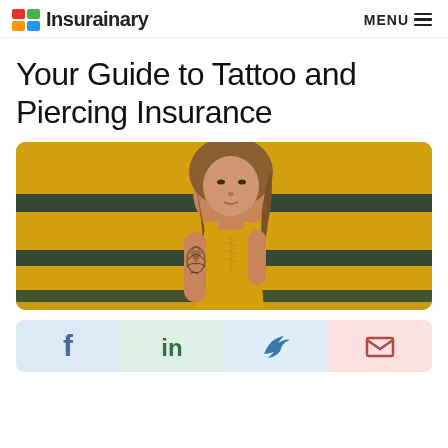Insurainary MENU
Your Guide to Tattoo and Piercing Insurance
[Figure (photo): Young woman with a tattoo on her arm wearing a yellow top, leaning against a yellow surface with dark horizontal stripes]
[Figure (infographic): Social sharing bar with four buttons: Facebook (blue background), LinkedIn (green background), Twitter (blue background), Email (pink background)]